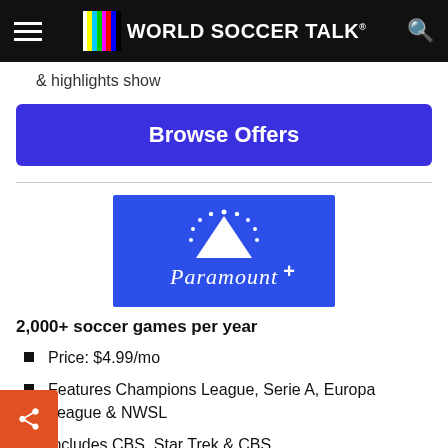World Soccer Talk
& highlights show
Browse Offers
[Figure (logo): Paramount+ logo on blue background]
2,000+ soccer games per year
Price: $4.99/mo
Features Champions League, Serie A, Europa League & NWSL
Includes CBS, Star Trek & CBS Sports HQ